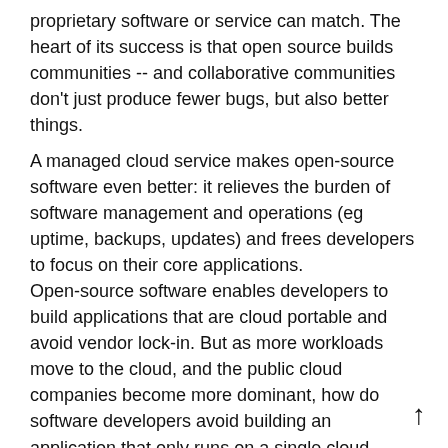proprietary software or service can match. The heart of its success is that open source builds communities -- and collaborative communities don't just produce fewer bugs, but also better things.
A managed cloud service makes open-source software even better: it relieves the burden of software management and operations (eg uptime, backups, updates) and frees developers to focus on their core applications.
Open-source software enables developers to build applications that are cloud portable and avoid vendor lock-in. But as more workloads move to the cloud, and the public cloud companies become more dominant, how do software developers avoid building an application that only runs on a single cloud, which is just another form of vendor lock-in?